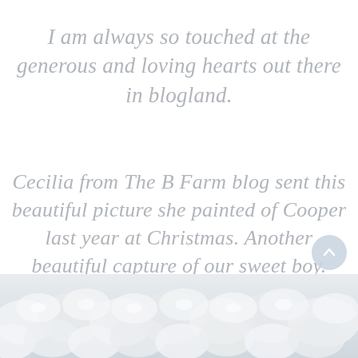I am always so touched at the generous and loving hearts out there in blogland.
Cecilia from The B Farm blog sent this beautiful picture she painted of Cooper last year at Christmas. Another beautiful capture of our sweet boy.
[Figure (photo): A white ruffled fabric or floral textile, soft and light, filling the bottom strip of the page.]